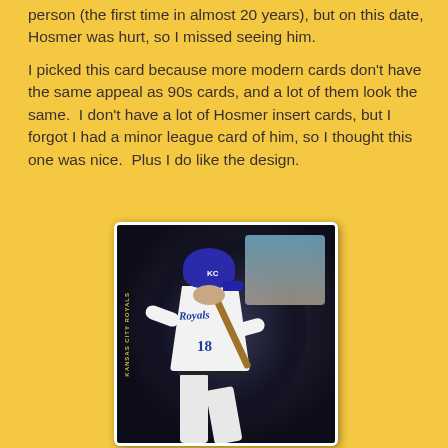person (the first time in almost 20 years), but on this date, Hosmer was hurt, so I missed seeing him.

I picked this card because more modern cards don't have the same appeal as 90s cards, and a lot of them look the same.  I don't have a lot of Hosmer insert cards, but I forgot I had a minor league card of him, so I thought this one was nice.  Plus I do like the design.
[Figure (photo): A baseball card showing a Kansas City Royals player wearing jersey number 18, in a batting stance, with a dark tunnel/mesh background. The card has 'KANSAS CITY ROYALS' text along the left side and appears to be a minor league or early MLB card.]